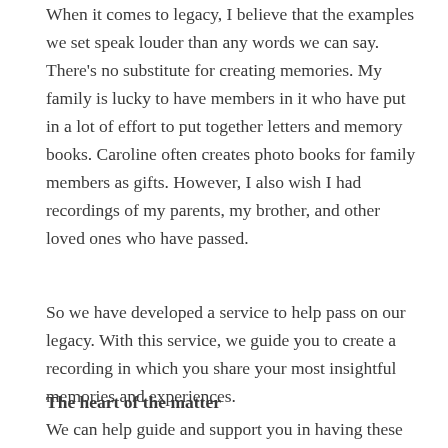When it comes to legacy, I believe that the examples we set speak louder than any words we can say. There's no substitute for creating memories. My family is lucky to have members in it who have put in a lot of effort to put together letters and memory books. Caroline often creates photo books for family members as gifts. However, I also wish I had recordings of my parents, my brother, and other loved ones who have passed.
So we have developed a service to help pass on our legacy. With this service, we guide you to create a recording in which you share your most insightful memories and experiences.
The heart of the matter
We can help guide and support you in having these intimate